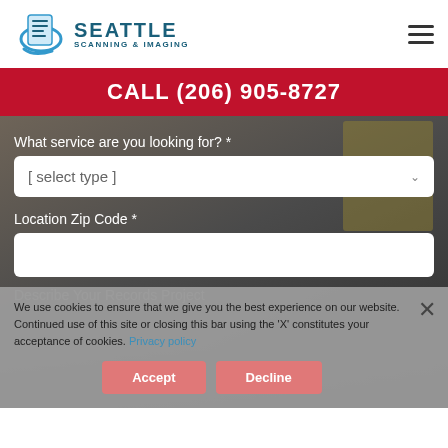[Figure (logo): Seattle Scanning & Imaging logo with stylized document icon and blue text]
CALL (206) 905-8727
What service are you looking for? *
[ select type ]
Location Zip Code *
Describe Your Records Project
We use cookies to ensure that we give you the best experience on our website. Continued use of this site or closing this bar using the 'X' constitutes your acceptance of cookies. Privacy policy
Accept
Decline